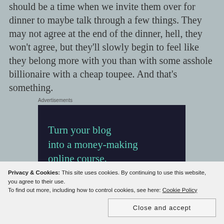should be a time when we invite them over for dinner to maybe talk through a few things. They may not agree at the end of the dinner, hell, they won't agree, but they'll slowly begin to feel like they belong more with you than with some asshole billionaire with a cheap toupee. And that's something.
Advertisements
[Figure (other): Advertisement banner with dark navy background and teal text reading: Turn your blog into a money-making online course.]
Privacy & Cookies: This site uses cookies. By continuing to use this website, you agree to their use.
To find out more, including how to control cookies, see here: Cookie Policy
Close and accept